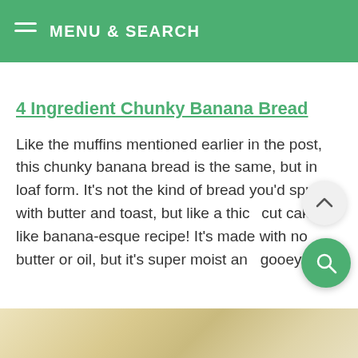MENU & SEARCH
4 Ingredient Chunky Banana Bread
Like the muffins mentioned earlier in the post, this chunky banana bread is the same, but in loaf form. It’s not the kind of bread you’d spread with butter and toast, but like a thick cut cake-like banana-esque recipe! It’s made with no butter or oil, but it’s super moist and gooey!
[Figure (photo): Bottom portion of a baked banana bread loaf, light golden/cream colored, partially visible at the bottom of the page.]